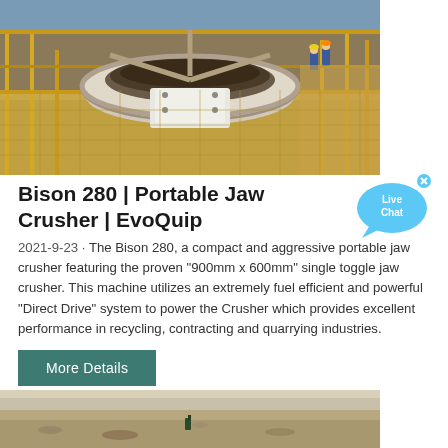[Figure (photo): Aerial/elevated view of an industrial crusher installation site with large circular crusher bowl, scaffolding, yellow safety equipment, and workers in blue uniforms and hard hats]
Bison 280 | Portable Jaw Crusher | EvoQuip
[Figure (illustration): Live Chat bubble icon in blue with text 'Live Chat' and an X close button]
2021-9-23 · The Bison 280, a compact and aggressive portable jaw crusher featuring the proven "900mm x 600mm" single toggle jaw crusher. This machine utilizes an extremely fuel efficient and powerful "Direct Drive" system to power the Crusher which provides excellent performance in recycling, contracting and quarrying industries.
More Details
[Figure (photo): Ground-level photo of an open quarry or mining site, sandy/rocky terrain with equipment visible in the distance]